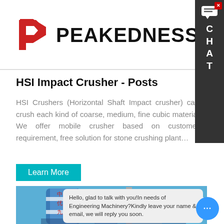[Figure (logo): Peakedness company logo with red arrow/P icon and bold black PEAKEDNESS text]
HSI Impact Crusher - Posts
HSI Crushers (Horizontal Shaft Impact crusher) can crush each kind of coarse, medium, fine cubic material We offer mobile crusher based on customer requirement, free solution for stone crushing plant…
Learn More
[Figure (photo): Industrial blue and white cylindrical silos/towers of a concrete batching plant against a blue sky, with Chinese characters on the silos]
Hello, glad to talk with you!In needs of Engineering Machinery?Kindly leave your name & email, we will reply you soon.